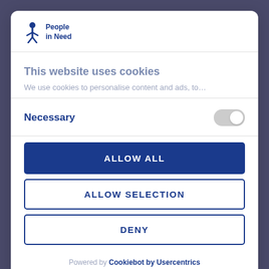[Figure (logo): People in Need logo with blue person icon and text]
This website uses cookies
We use cookies to personalise content and ads, to…
Necessary
ALLOW ALL
ALLOW SELECTION
DENY
Powered by Cookiebot by Usercentrics